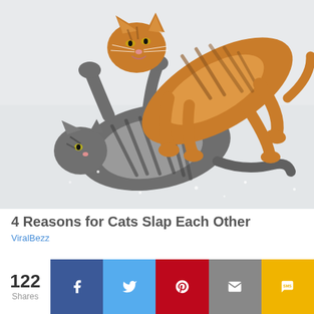[Figure (photo): Two cats fighting on snow. An orange tabby cat is jumping/leaping on top of a grey striped tabby cat which is lying on its back in the snow with paws up.]
4 Reasons for Cats Slap Each Other
ViralBezz
122 Shares